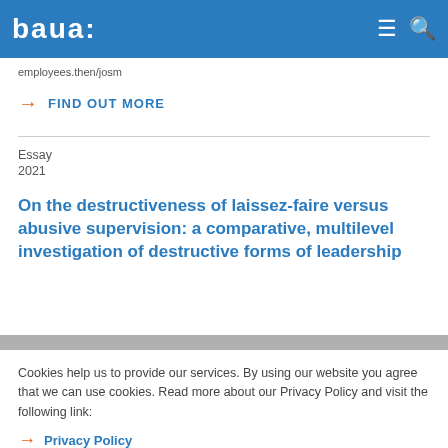baua:
employees.then/josm
→ FIND OUT MORE
Essay
2021
On the destructiveness of laissez-faire versus abusive supervision: a comparative, multilevel investigation of destructive forms of leadership
Cookies help us to provide our services. By using our website you agree that we can use cookies. Read more about our Privacy Policy and visit the following link:
→ Privacy Policy
OK